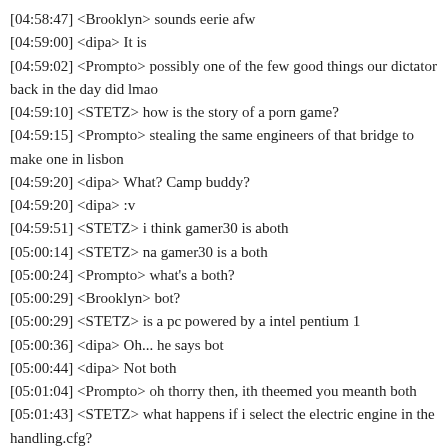[04:58:47] <Brooklyn> sounds eerie afw
[04:59:00] <dipa> It is
[04:59:02] <Prompto> possibly one of the few good things our dictator back in the day did lmao
[04:59:10] <STETZ> how is the story of a porn game?
[04:59:15] <Prompto> stealing the same engineers of that bridge to make one in lisbon
[04:59:20] <dipa> What? Camp buddy?
[04:59:20] <dipa> :v
[04:59:51] <STETZ> i think gamer30 is aboth
[05:00:14] <STETZ> na gamer30 is a both
[05:00:24] <Prompto> what's a both?
[05:00:29] <Brooklyn> bot?
[05:00:29] <STETZ> is a pc powered by a intel pentium 1
[05:00:36] <dipa> Oh... he says bot
[05:00:44] <dipa> Not both
[05:01:04] <Prompto> oh thorry then, ith theemed you meanth both
[05:01:43] <STETZ> what happens if i select the electric engine in the handling.cfg?
[05:01:50] <Lavija> you get banned
[05:01:53] <dipa> :v
[05:01:55] <Prompto> isn't handlig.cfg banned?
[05:01:58] <STETZ> why?
[05:02:00] <dipa> It is